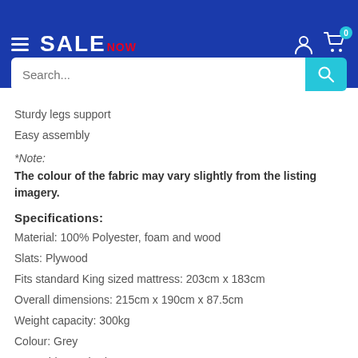SALENOW — Search bar
Sturdy legs support
Easy assembly
*Note:
The colour of the fabric may vary slightly from the listing imagery.
Specifications:
Material: 100% Polyester, foam and wood
Slats: Plywood
Fits standard King sized mattress: 203cm x 183cm
Overall dimensions: 215cm x 190cm x 87.5cm
Weight capacity: 300kg
Colour: Grey
Assembly required: Yes